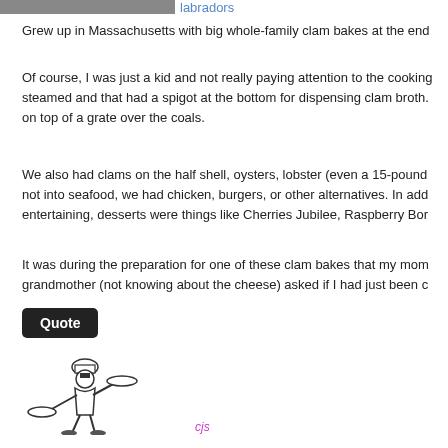[Figure (photo): Partial image at top left, dark/gray]
labradors
Grew up in Massachusetts with big whole-family clam bakes at the end...
Of course, I was just a kid and not really paying attention to the cooking... steamed and that had a spigot at the bottom for dispensing clam broth. ...on top of a grate over the coals.
We also had clams on the half shell, oysters, lobster (even a 15-pounde... not into seafood, we had chicken, burgers, or other alternatives. In add... entertaining, desserts were things like Cherries Jubilee, Raspberry Bor...
It was during the preparation for one of these clam bakes that my mom... grandmother (not knowing about the cheese) asked if I had just been c...
Quote
[Figure (illustration): Line drawing of a chef/waiter carrying a platter]
cjs